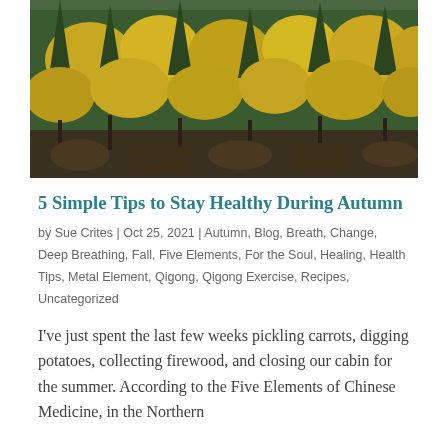[Figure (photo): Autumn forest landscape with yellow and green trees on a hillside]
5 Simple Tips to Stay Healthy During Autumn
by Sue Crites | Oct 25, 2021 | Autumn, Blog, Breath, Change, Deep Breathing, Fall, Five Elements, For the Soul, Healing, Health Tips, Metal Element, Qigong, Qigong Exercise, Recipes, Uncategorized
I've just spent the last few weeks pickling carrots, digging potatoes, collecting firewood, and closing our cabin for the summer. According to the Five Elements of Chinese Medicine, in the Northern